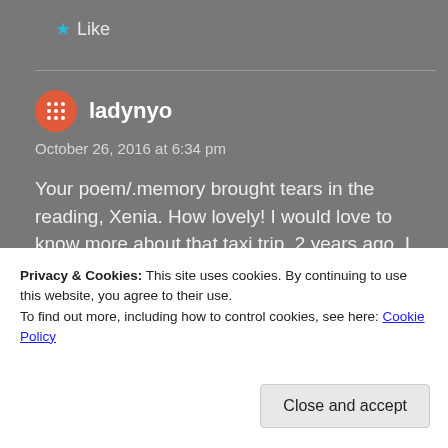★ Like
ladynyo
October 26, 2016 at 6:34 pm
Your poem/.memory brought tears in the reading, Xenia. How lovely! I would love to know more about that taxi trip. 2 years ago, I lost my beloved Aunt Jean, at almost 102. She was the mother I
Privacy & Cookies: This site uses cookies. By continuing to use this website, you agree to their use.
To find out more, including how to control cookies, see here: Cookie Policy
Close and accept